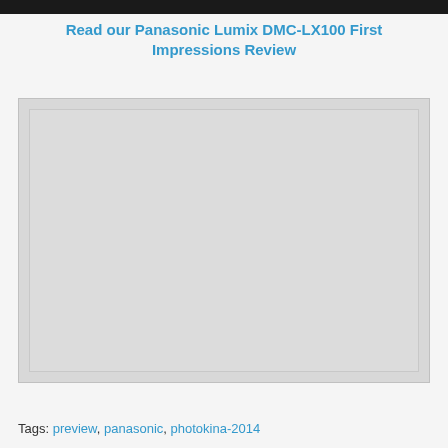Read our Panasonic Lumix DMC-LX100 First Impressions Review
[Figure (photo): Large image placeholder (light gray rectangle with inner border) representing a photo related to the Panasonic Lumix DMC-LX100 First Impressions Review]
Tags: preview, panasonic, photokina-2014